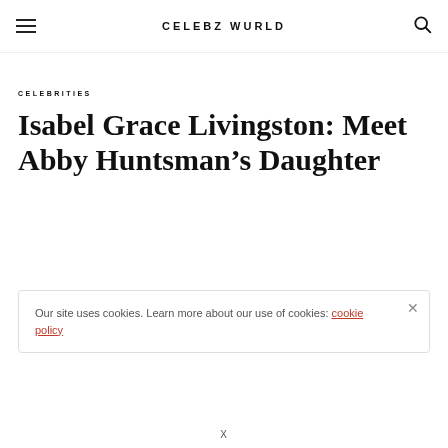CELEBZ WURLD
CELEBRITIES
Isabel Grace Livingston: Meet Abby Huntsman's Daughter
Our site uses cookies. Learn more about our use of cookies: cookie policy